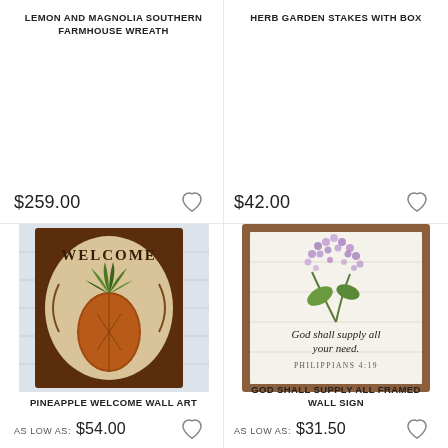LEMON AND MAGNOLIA SOUTHERN FARMHOUSE WREATH
$259.00
HERB GARDEN STAKES WITH BOX
$42.00
[Figure (illustration): Pineapple Welcome Wall Art — a painting of a pineapple on a white shiplap background with decorative oval frame and 'WELCOME' text]
PINEAPPLE WELCOME WALL ART
AS LOW AS: $54.00
[Figure (photo): God Shall Supply All Framed Wall Sign — white shiplap board in a brown wooden frame with purple lilac flowers and serif text 'God shall supply all your need. PHILIPPIANS 4:19']
GOD SHALL SUPPLY ALL FRAMED WALL SIGN
AS LOW AS: $31.50